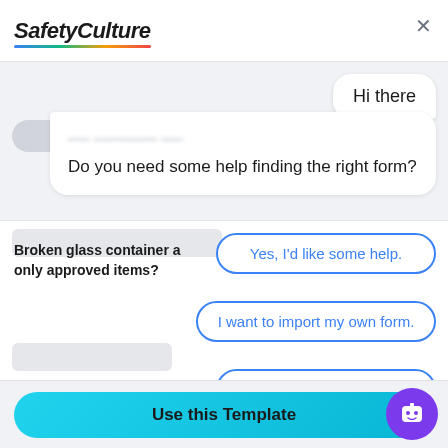[Figure (screenshot): SafetyCulture app screenshot showing a chatbot overlay with options: 'Hi there', 'Do you need some help finding the right form?', with reply buttons 'Yes, I'd like some help.', 'I want to import my own form.', 'No, I'm good. Thanks!']
SafetyCulture
Hi there
Do you need some help finding the right form?
Broken glass container a only approved items?
Yes, I'd like some help.
I want to import my own form.
Comp
No, I'm good. Thanks!
Non compliant
Use this Template